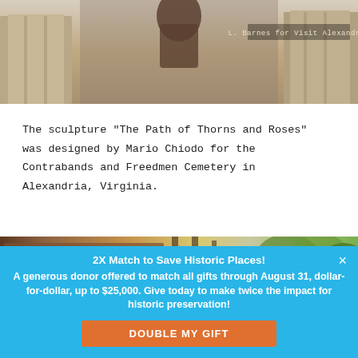[Figure (photo): Photograph of a sculpture monument with stone pillars, partially visible bronze figure at top, taken at the Contrabands and Freedmen Cemetery in Alexandria, Virginia]
L. Barnes for Visit Alexandria
The sculpture "The Path of Thorns and Roses" was designed by Mario Chiodo for the Contrabands and Freedmen Cemetery in Alexandria, Virginia.
[Figure (photo): Photograph of the Contrabands and Freedmen Cemetery entrance sign and building facade]
2X Match to Save Historic Places!

A generous donor offered to match all gifts through August 31, dollar-for-dollar, up to $25,000. Give today to make twice the impact for historic preservation!
DOUBLE MY GIFT